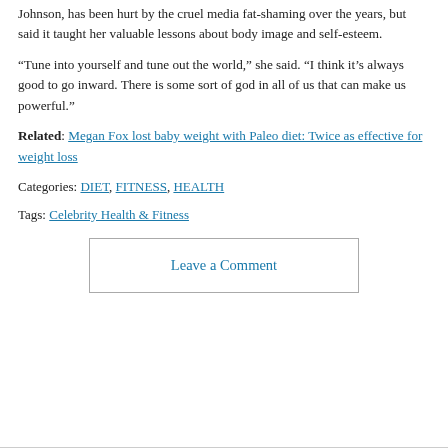Johnson, has been hurt by the cruel media fat-shaming over the years, but said it taught her valuable lessons about body image and self-esteem.
“Tune into yourself and tune out the world,” she said. “I think it’s always good to go inward. There is some sort of god in all of us that can make us powerful.”
Related: Megan Fox lost baby weight with Paleo diet: Twice as effective for weight loss
Categories: DIET, FITNESS, HEALTH
Tags: Celebrity Health & Fitness
Leave a Comment